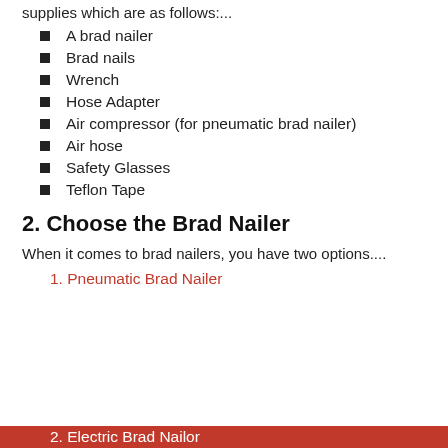supplies which are as follows:...
A brad nailer
Brad nails
Wrench
Hose Adapter
Air compressor (for pneumatic brad nailer)
Air hose
Safety Glasses
Teflon Tape
2. Choose the Brad Nailer
When it comes to brad nailers, you have two options....
Pneumatic Brad Nailer
Electric Brad Nailer